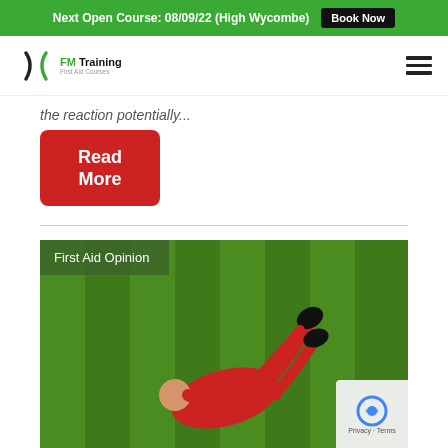Next Open Course: 08/09/22 (High Wycombe) Book Now
[Figure (logo): FM Training First Aid Courses logo with stylized X icon in green]
the reaction potentially...
Read More
[Figure (photo): Football player in red kit lying on green grass pitch holding his leg in pain, with 'First Aid Opinion' label overlay]